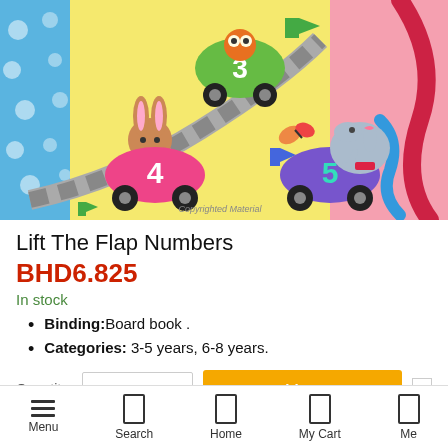[Figure (illustration): Colorful children's book cover showing cartoon animals (rabbit, owl, elephant) driving numbered cars (3, 4, 5) on a race track, with a copyright watermark. Background has blue polka dot patterns and yellow panels.]
Lift The Flap Numbers
BHD6.825
In stock
Binding:Board book .
Categories: 3-5 years, 6-8 years.
Quantity:
Menu | Search | Home | My Cart | Me